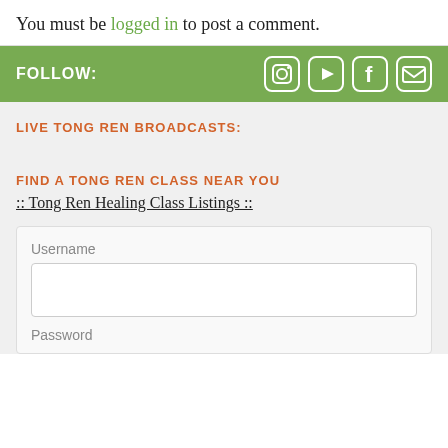You must be logged in to post a comment.
[Figure (infographic): Green FOLLOW bar with social media icons: Instagram, YouTube, Facebook, Email]
LIVE TONG REN BROADCASTS:
FIND A TONG REN CLASS NEAR YOU
:: Tong Ren Healing Class Listings ::
Username
Password